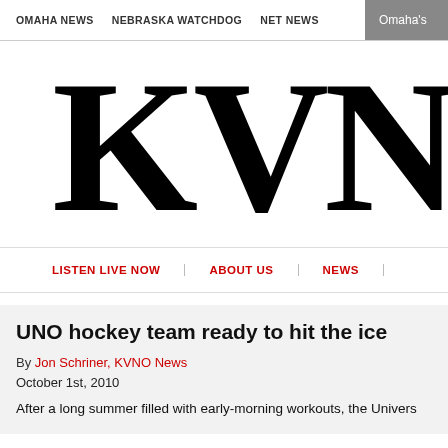OMAHA NEWS   NEBRASKA WATCHDOG   NET NEWS   Omaha's
KVNO
LISTEN LIVE NOW   ABOUT US   NEWS
UNO hockey team ready to hit the ice
By Jon Schriner, KVNO News
October 1st, 2010
After a long summer filled with early-morning workouts, the Univers